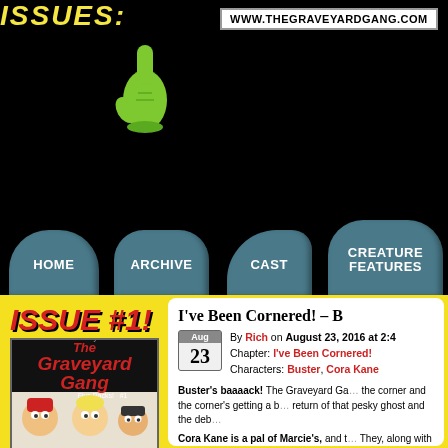www.thegraveyardgang.com
[Figure (screenshot): Website screenshot of The Graveyard Gang webcomic page showing navigation tombstones (HOME, ARCHIVE, CAST, CREATURE FEATURES) on black background with yellow flames, a green ghost hand, and partial ISSUES text at top left]
ISSUE #1!
[Figure (illustration): The Graveyard Gang Issue #1 comic book cover showing title text in red italic and comic characters below]
I've Been Cornered! – B
By Rich on August 23, 2016 at 2:4
Chapter: I've Been Cornered!
Characters: Buster, Cora Kane
Buster's baaaack! The Graveyard Ga... the corner and the corner's getting a b... return of that pesky ghost and the deb...
Cora Kane is a pal of Marcie's, and t... They, along with fellow classmate Ann... Graveyard Girls' Club! What is The...